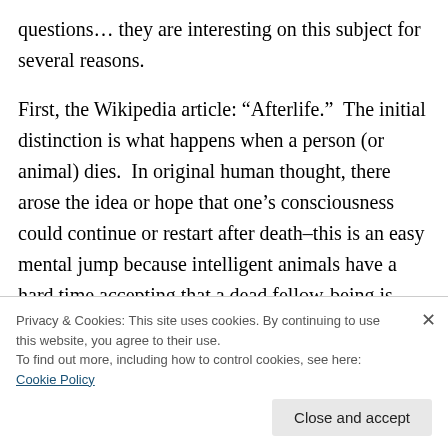questions… they are interesting on this subject for several reasons.

First, the Wikipedia article: “Afterlife.”  The initial distinction is what happens when a person (or animal) dies.  In original human thought, there arose the idea or hope that one’s consciousness could continue or restart after death–this is an easy mental jump because intelligent animals have a hard time accepting that a dead fellow-being is gone or “really dead.”  Elephants, for example, repeatedly try to revive a dead companion and only accept the death
Privacy & Cookies: This site uses cookies. By continuing to use this website, you agree to their use.
To find out more, including how to control cookies, see here: Cookie Policy